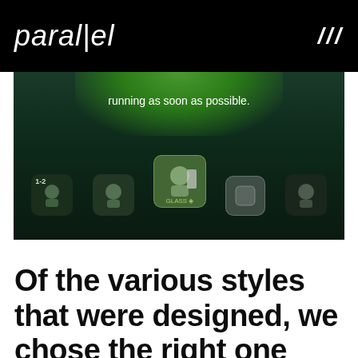parallel ///
[Figure (screenshot): Screenshot of a mobile game or app interface with a dark green background, showing game character icons and text 'running as soon as possible.']
Of the various styles that were designed, we chose the right one